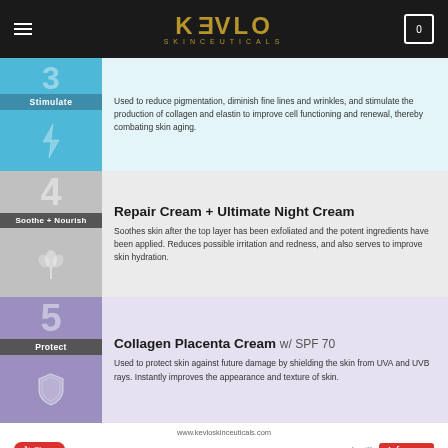KEVLO SKINCEUTICALS
Used to reduce pigmentation, diminish fine lines and wrinkles, and stimulate the production of collagen and elastin to improve cell functioning and renewal, thereby combating skin aging.
Stimulate
4 Soothe + Nourish
Repair Cream + Ultimate Night Cream
Soothes skin after the top layer has been exfoliated and the potent ingredients have been applied. Reduces possible irritation and redness, and also serves to improve skin hydration.
5 Protect
Collagen Placenta Cream w/ SPF 70
Used to protect skin against future damage by shielding the skin from UVA and UVB rays. Instantly improves the appearance and texture of skin.
www.kevloskinceuticals.com